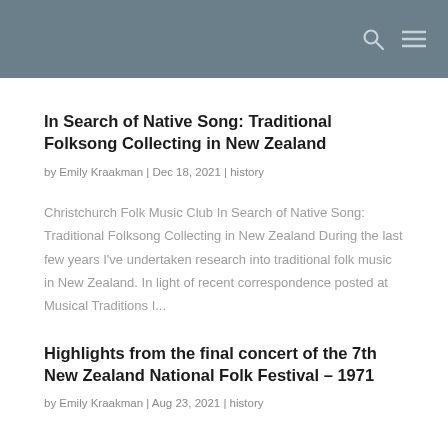In Search of Native Song: Traditional Folksong Collecting in New Zealand
by Emily Kraakman | Dec 18, 2021 | history
Christchurch Folk Music Club In Search of Native Song: Traditional Folksong Collecting in New Zealand During the last few years I've undertaken research into traditional folk music in New Zealand. In light of recent correspondence posted at Musical Traditions I...
Highlights from the final concert of the 7th New Zealand National Folk Festival – 1971
by Emily Kraakman | Aug 23, 2021 | history